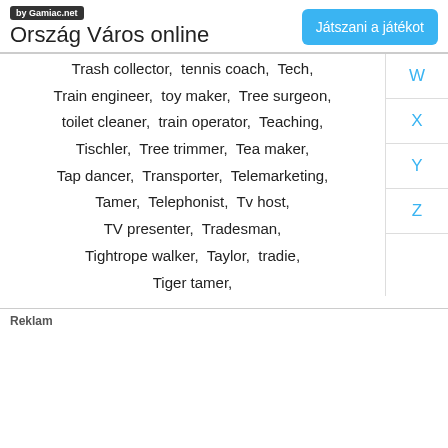by Gamiac.net | Ország Város online | Játszani a játékot
Trash collector,  tennis coach,  Tech,  Train engineer,  toy maker,  Tree surgeon,  toilet cleaner,  train operator,  Teaching,  Tischler,  Tree trimmer,  Tea maker,  Tap dancer,  Transporter,  Telemarketing,  Tamer,  Telephonist,  Tv host,  TV presenter,  Tradesman,  Tightrope walker,  Taylor,  tradie,  Tiger tamer,
Reklam